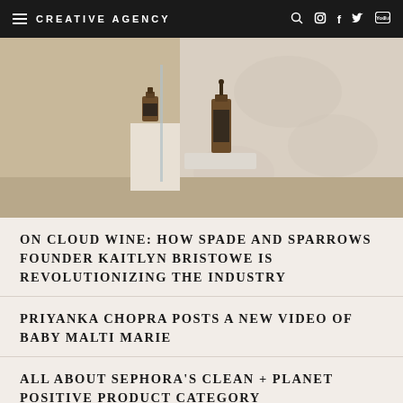CREATIVE AGENCY
[Figure (photo): Two amber glass dropper bottles displayed on geometric white/marble pedestals against a textured cream wall]
ON CLOUD WINE: HOW SPADE AND SPARROWS FOUNDER KAITLYN BRISTOWE IS REVOLUTIONIZING THE INDUSTRY
PRIYANKA CHOPRA POSTS A NEW VIDEO OF BABY MALTI MARIE
ALL ABOUT SEPHORA'S CLEAN + PLANET POSITIVE PRODUCT CATEGORY